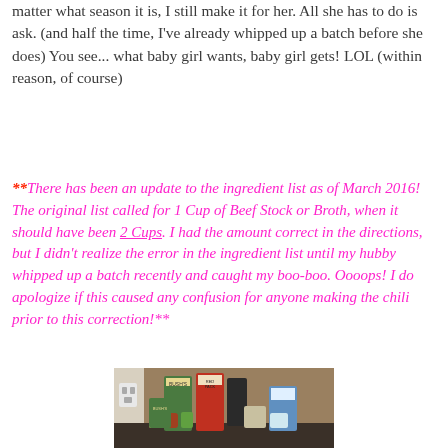matter what season it is, I still make it for her. All she has to do is ask. (and half the time, I've already whipped up a batch before she does) You see... what baby girl wants, baby girl gets! LOL (within reason, of course)
**There has been an update to the ingredient list as of March 2016! The original list called for 1 Cup of Beef Stock or Broth, when it should have been 2 Cups. I had the amount correct in the directions, but I didn't realize the error in the ingredient list until my hubby whipped up a batch recently and caught my boo-boo. Oooops! I do apologize if this caused any confusion for anyone making the chili prior to this correction!**
[Figure (photo): Photo of chili ingredients laid out on a counter including Bush's beans cans, Red Pack tomatoes can, beef broth carton, spice jars, and other ingredients.]